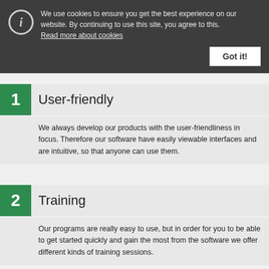We use cookies to ensure you get the best experience on our website. By continuing to use this site, you agree to this. Read more about cookies
Got it!
1 User-friendly
We always develop our products with the user-friendliness in focus. Therefore our software have easily viewable interfaces and are intuitive, so that anyone can use them.
2 Training
Our programs are really easy to use, but in order for you to be able to get started quickly and gain the most from the software we offer different kinds of training sessions.